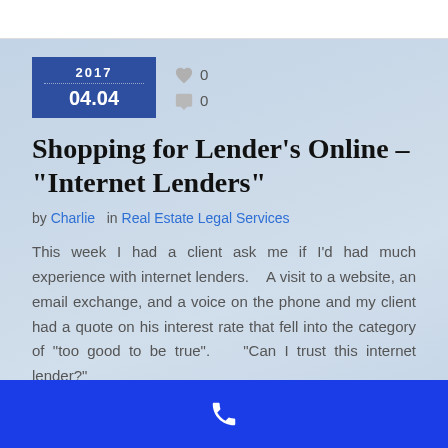[Figure (other): Date badge showing 2017 / 04.04 in blue, with heart icon (0 likes) and comment icon (0 comments)]
Shopping for Lender’s Online – “Internet Lenders”
by Charlie in Real Estate Legal Services
This week I had a client ask me if I’d had much experience with internet lenders.    A visit to a website, an email exchange, and a voice on the phone and my client had a quote on his interest rate that fell into the category of “too good to be true”.    “Can I trust this internet lender?”